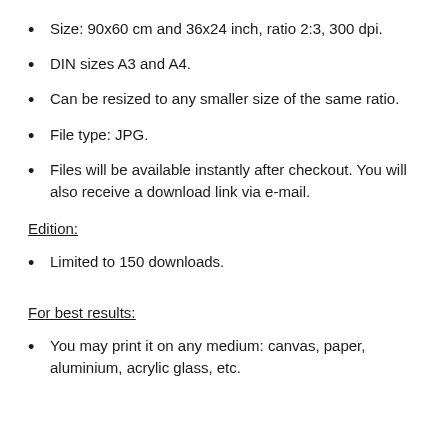Size: 90x60 cm and 36x24 inch, ratio 2:3, 300 dpi.
DIN sizes A3 and A4.
Can be resized to any smaller size of the same ratio.
File type: JPG.
Files will be available instantly after checkout. You will also receive a download link via e-mail.
Edition:
Limited to 150 downloads.
For best results:
You may print it on any medium: canvas, paper, aluminium, acrylic glass, etc.